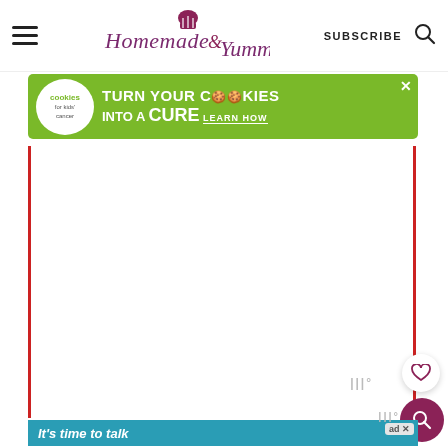Homemade & Yummy — SUBSCRIBE
[Figure (screenshot): Advertisement banner: Cookies for Kids' Cancer - turn your cookies into a CURE LEARN HOW, on green background]
[Figure (screenshot): Main white content area with red left and right borders, mostly blank white space with Mediavine watermark]
[Figure (screenshot): Bottom advertisement: I Bake COOKIES For A CURE - So can you! Cookies for Kids' Cancer logo, with Haldora 11 Cancer Survivor caption]